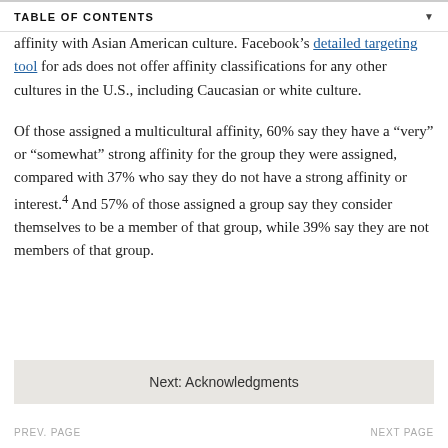TABLE OF CONTENTS
affinity with Asian American culture. Facebook’s detailed targeting tool for ads does not offer affinity classifications for any other cultures in the U.S., including Caucasian or white culture.
Of those assigned a multicultural affinity, 60% say they have a “very” or “somewhat” strong affinity for the group they were assigned, compared with 37% who say they do not have a strong affinity or interest.4 And 57% of those assigned a group say they consider themselves to be a member of that group, while 39% say they are not members of that group.
Next: Acknowledgments
PREV. PAGE   NEXT PAGE